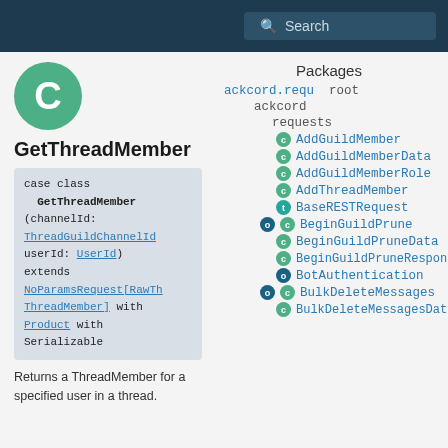Search
[Figure (logo): Green circle with white letter C, representing a Scala case class icon]
GetThreadMember
case class GetThreadMember(channelId: ThreadGuildChannelId userId: UserId) extends NoParamsRequest[RawThreadMember] with Product with Serializable
Returns a ThreadMember for a specified user in a thread.
Packages
root
ackcord
requests
AddGuildMember
AddGuildMemberData
AddGuildMemberRole
AddThreadMember
BaseRESTRequest
BeginGuildPrune
BeginGuildPruneData
BeginGuildPruneResponse
BotAuthentication
BulkDeleteMessages
BulkDeleteMessagesData